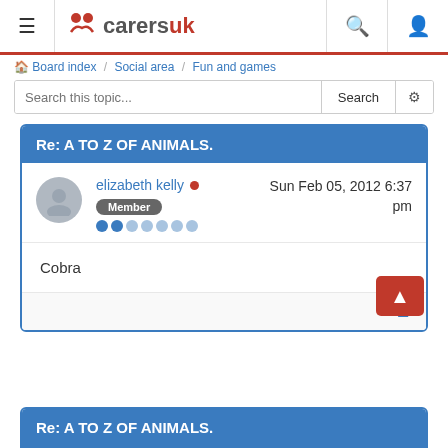CarersUK forum navigation bar
Board index / Social area / Fun and games
Search this topic...
Re: A TO Z OF ANIMALS.
elizabeth kelly • Sun Feb 05, 2012 6:37 pm
Member
Cobra
Re: A TO Z OF ANIMALS.